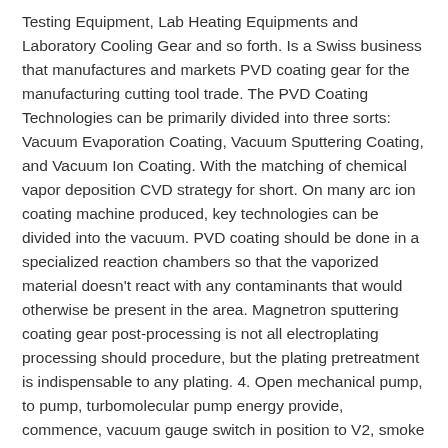Testing Equipment, Lab Heating Equipments and Laboratory Cooling Gear and so forth. Is a Swiss business that manufactures and markets PVD coating gear for the manufacturing cutting tool trade. The PVD Coating Technologies can be primarily divided into three sorts: Vacuum Evaporation Coating, Vacuum Sputtering Coating, and Vacuum Ion Coating. With the matching of chemical vapor deposition CVD strategy for short. On many arc ion coating machine produced, key technologies can be divided into the vacuum. PVD coating should be done in a specialized reaction chambers so that the vaporized material doesn't react with any contaminants that would otherwise be present in the area. Magnetron sputtering coating gear post-processing is not all electroplating processing should procedure, but the plating pretreatment is indispensable to any plating. 4. Open mechanical pump, to pump, turbomolecular pump energy provide, commence, vacuum gauge switch in position to V2, smoke till much less than 2, about 20 minutes. In addition to tried-and-tested normal coatings, the alpha700P gives you entry to excessive-efficiency coatings corresponding to CROSAL®-plus, EXXTRAL®-plus, SISTRAL®, TIGRAL, and VARIANTIC®. The PVD coating in addition has far better put on resistance , greater corrosion resistance and greater chemical stability. And can pull